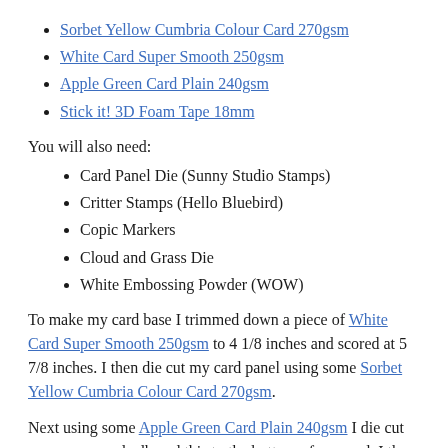Sorbet Yellow Cumbria Colour Card 270gsm
White Card Super Smooth 250gsm
Apple Green Card Plain 240gsm
Stick it! 3D Foam Tape 18mm
You will also need:
Card Panel Die (Sunny Studio Stamps)
Critter Stamps (Hello Bluebird)
Copic Markers
Cloud and Grass Die
White Embossing Powder (WOW)
To make my card base I trimmed down a piece of White Card Super Smooth 250gsm to 4 1/8 inches and scored at 5 7/8 inches. I then die cut my card panel using some Sorbet Yellow Cumbria Colour Card 270gsm.
Next using some Apple Green Card Plain 240gsm I die cut some grass and adhered this to the bottom of my card. I then adhered the panel to my card base.
Using some more White Card Super Smooth 250gsm I die